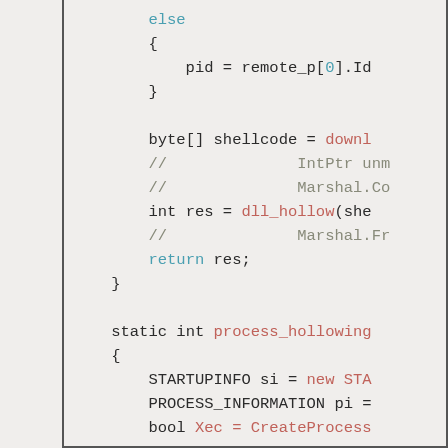[Figure (screenshot): Source code snippet in C# showing process hollowing code. Contains else block with pid assignment, shellcode download, dll_hollow call, return statement, and start of process_hollowing static function with STARTUPINFO, PROCESS_INFORMATION, and bool variable declarations.]